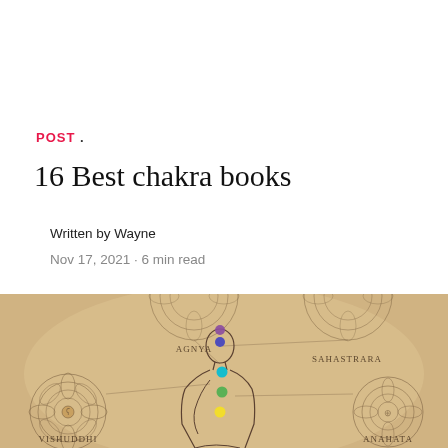POST .
16 Best chakra books
Written by Wayne
Nov 17, 2021 · 6 min read
[Figure (illustration): Illustration of a meditating human figure with chakra symbols and colorful chakra dots along the body. Labels visible: AGNYA (top center), SAHASTRARA (top right), VISHUDDHI (bottom left), ANAHATA (bottom right). Mandala-like chakra symbols shown at the sides. Background is warm parchment/tan color.]